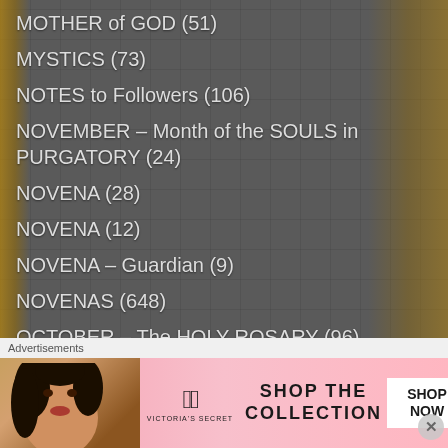MOTHER of GOD (51)
MYSTICS (73)
NOTES to Followers (106)
NOVEMBER – Month of the SOULS in PURGATORY (24)
NOVENA (28)
NOVENA (12)
NOVENA – Guardian (9)
NOVENAS (648)
OCTOBER – The HOLY ROSARY (96)
ON the SAINTS (207)
ONE Minute REFLECTION (779)
[Figure (advertisement): Victoria's Secret advertisement banner with model, VS logo, 'SHOP THE COLLECTION' text and SHOP NOW button on pink background]